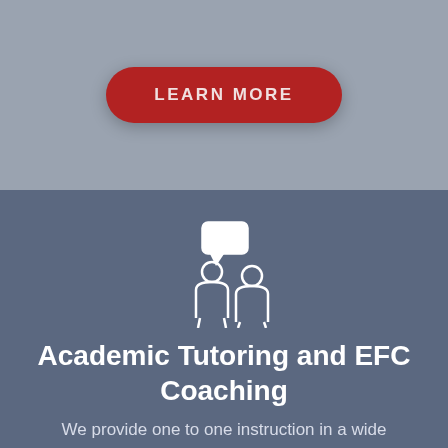[Figure (other): Red pill-shaped button with text LEARN MORE in white capital letters on a gray background]
[Figure (illustration): White outline icon of two people figures, one with a speech bubble above, on a dark blue-gray background]
Academic Tutoring and EFC Coaching
We provide one to one instruction in a wide